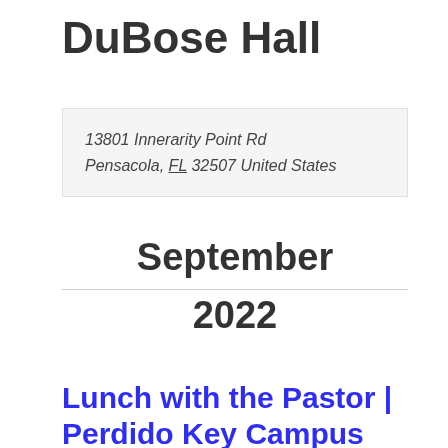DuBose Hall
13801 Innerarity Point Rd
Pensacola, FL 32507 United States
September
2022
Lunch with the Pastor | Perdido Key Campus